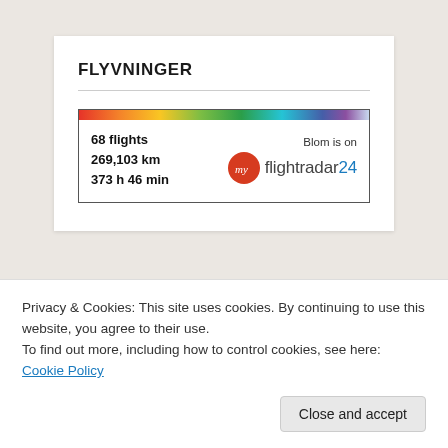FLYVNINGER
[Figure (screenshot): Flightradar24 widget showing flight stats: 68 flights, 269,103 km, 373 h 46 min. Blom is on myflightradar24.]
Privacy & Cookies: This site uses cookies. By continuing to use this website, you agree to their use.
To find out more, including how to control cookies, see here: Cookie Policy
Close and accept